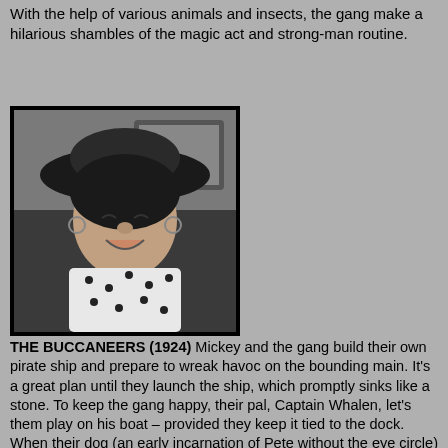With the help of various animals and insects, the gang make a hilarious shambles of the magic act and strong-man routine.
[Figure (photo): Black and white photograph of a child wearing a large hat and polka dot clothing, laughing or crying, with a vehicle in the background.]
THE BUCCANEERS (1924) Mickey and the gang build their own pirate ship and prepare to wreak havoc on the bounding main. It's a great plan until they launch the ship, which promptly sinks like a stone. To keep the gang happy, their pal, Captain Whalen, let's them play on his boat – provided they keep it tied to the dock. When their dog (an early incarnation of Pete without the eye circle) eats the rope, they find themselves drifting on the high seas! This presents no problem for the gang as they start the motor and attack the U.S. Navy!
[Figure (photo): Black and white photograph, partially visible at bottom of page.]